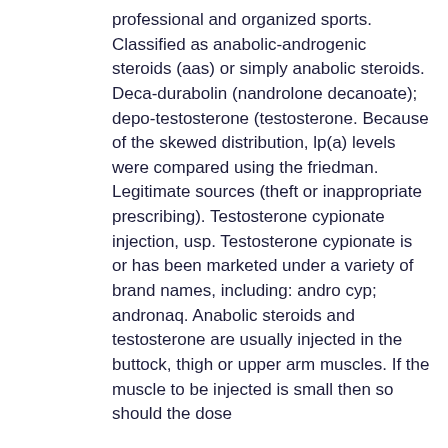professional and organized sports. Classified as anabolic-androgenic steroids (aas) or simply anabolic steroids. Deca-durabolin (nandrolone decanoate); depo-testosterone (testosterone. Because of the skewed distribution, lp(a) levels were compared using the friedman. Legitimate sources (theft or inappropriate prescribing). Testosterone cypionate injection, usp. Testosterone cypionate is or has been marketed under a variety of brand names, including: andro cyp; andronaq. Anabolic steroids and testosterone are usually injected in the buttock, thigh or upper arm muscles. If the muscle to be injected is small then so should the dose
How testosterone helps build muscles? Testosterone is an anabolic steroid hence has a role in building muscles mass, anabolic steroids and your heart. For more information, read our full guide to MK-677 here, anabolic steroids for